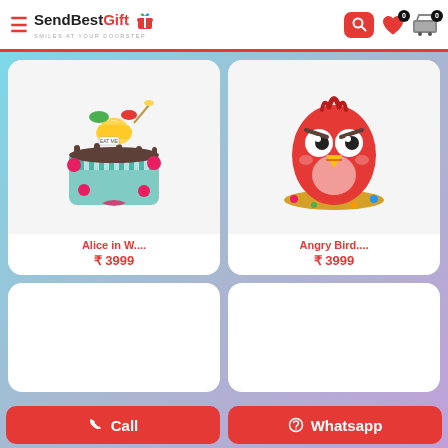SendBestGift — SMILES AT YOUR DOORSTEP
[Figure (photo): Alice in Wonderland themed cake with teapot topper, pink roses, blue and white stripes, chocolate drip]
Alice in W....
₹ 3999
[Figure (photo): Angry Birds red character cake, 3D sculpted fondant with big white eyes and yellow beak]
Angry Bird....
₹ 3999
[Figure (photo): Empty product card placeholder (bottom left)]
[Figure (photo): Empty product card placeholder (bottom right)]
📞 Call
💬 Whatsapp